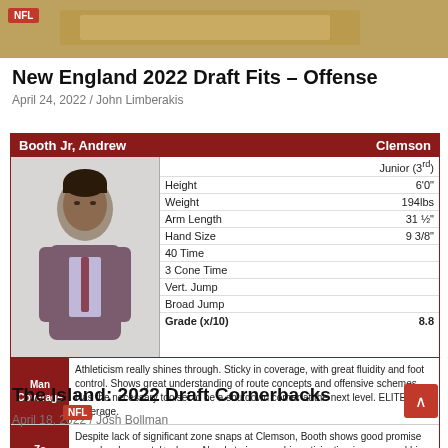[Figure (photo): Top banner image showing a table/board game scene with an NFL red badge overlay in top-left corner]
New England 2022 Draft Fits – Offense
April 24, 2022 / John Limberakis
| Booth Jr, Andrew | Clemson |
| --- | --- |
|  | Junior (3rd) |
| Height | 6'0" |
| Weight | 194lbs |
| Arm Length | 31 ½" |
| Hand Size | 9 3/8" |
| 40 Time |  |
| 3 Cone Time |  |
| Vert. Jump |  |
| Broad Jump |  |
| Grade (x/10) | 8.8 |
Man Coverage: Athleticism really shines through. Sticky in coverage, with great fluidity and foot control. Shows great understanding of route concepts and offensive schemes. Has the necessary toolset to be a shutdown corner at the next level. ELITE man coverage.
Zone Coverage: Despite lack of significant zone snaps at Clemson, Booth shows good promise as a developmental+ player. Needs to improve his anticipation in zone, and his understanding of how to squeeze and press down on routes. +DEV trait.
The Island: 2022 Draft Cornerbacks
April 18, 2022 / Josh Bollman